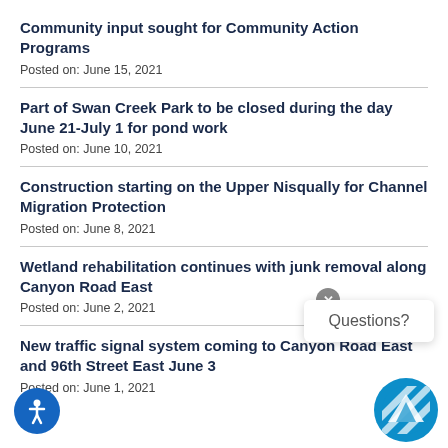Community input sought for Community Action Programs
Posted on: June 15, 2021
Part of Swan Creek Park to be closed during the day June 21-July 1 for pond work
Posted on: June 10, 2021
Construction starting on the Upper Nisqually for Channel Migration Protection
Posted on: June 8, 2021
Wetland rehabilitation continues with junk removal along Canyon Road East
Posted on: June 2, 2021
New traffic signal system coming to Canyon Road East and 96th Street East June 3
Posted on: June 1, 2021